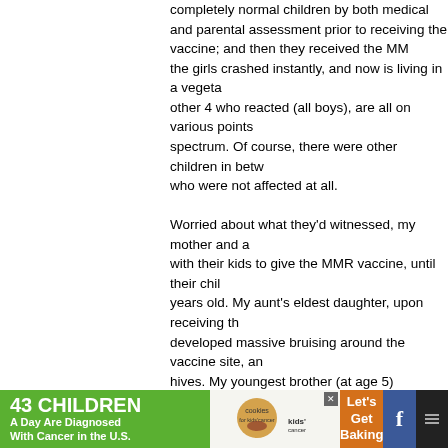completely normal children by both medical and parental assessment prior to receiving the vaccine; and then they received the MMR vaccine; one of the girls crashed instantly, and now is living in a vegetative state; the other 4 who reacted (all boys), are all on various points of the autistic spectrum. Of course, there were other children in between these dates who were not affected at all. Worried about what they'd witnessed, my mother and aunt refused to continue with their kids to give the MMR vaccine, until their children were 4 – 5 years old. My aunt's eldest daughter, upon receiving the vaccine at age 5, developed massive bruising around the vaccine site, and suffered from hives. My youngest brother (at age 5) received the vaccine and within hours was covered in hives, bruised around the vaccine site as well. After treatment at the hospital my cousin, and my brother recovered. And yes, myself, my other siblings, and remaining cousins did fine. Obviously, there is some correlation, at least within my family, between the vaccine and autistic (among other) side effects (and I recognize that autism isn't technically a 'side effect', however, in this example I'm classifying it as such). Therefore, when my own child is d...reccomended age to get the vaccine. I do firmly believe...
[Figure (infographic): Advertisement banner at the bottom: green section with '43 CHILDREN A Day Are Diagnosed With Cancer in the U.S.', cookies for kids cancer logo in the middle, orange section with 'Let's Get Baking' text, and social media icons on the right.]